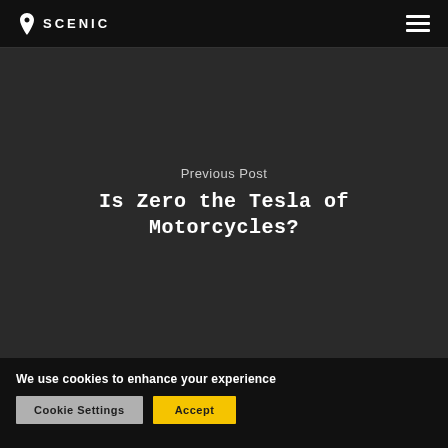SCENIC
Previous Post
Is Zero the Tesla of Motorcycles?
We use cookies to enhance your experience
Cookie Settings
Accept